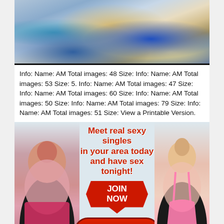[Figure (photo): Outdoor photo showing food in a teal/turquoise container near the ground with blue and yellow items visible, jeans and pavement in background]
Info: Name: AM Total images: 48 Size: Info: Name: AM Total images: 53 Size: 5. Info: Name: AM Total images: 47 Size: Info: Name: AM Total images: 60 Size: Info: Name: AM Total images: 50 Size: Info: Name: AM Total images: 79 Size: Info: Name: AM Total images: 51 Size: View a Printable Version.
[Figure (infographic): Dating advertisement banner with two women in bikinis on left and right sides, red bold text reading 'Meet real sexy singles in your area today and have sex tonight!', a red JOIN NOW badge with arrow, and a red REGISTER button]